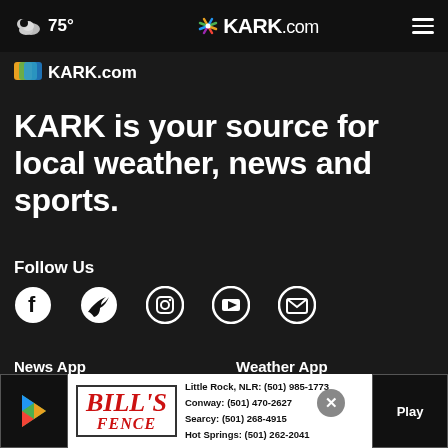75° KARK.com ≡
[Figure (logo): KARK.com colorful logo strip]
KARK is your source for local weather, news and sports.
Follow Us
[Figure (infographic): Social media icons: Facebook, Twitter, Instagram, YouTube, Email]
News App
Weather App
[Figure (screenshot): Download on the App Store button (News App)]
[Figure (screenshot): Download on the App Store button (Weather App)]
[Figure (infographic): Advertisement: Bill's Fence with contact numbers for Little Rock NLR, Conway, Searcy, Hot Springs; Google Play and App Store download buttons]